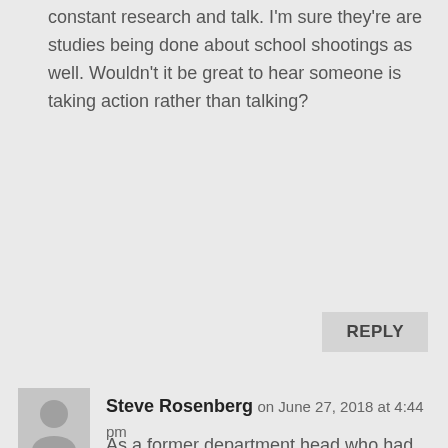constant research and talk. I'm sure they're are studies being done about school shootings as well. Wouldn't it be great to hear someone is taking action rather than talking?
REPLY
[Figure (illustration): Gray avatar/silhouette placeholder icon for user profile picture]
Steve Rosenberg on June 27, 2018 at 4:44 pm
As a former department head who had the responsibility of observing and evaluating classroom teachers, I can tell you that I would know within a relatively short time whether or not the teacher being observed had the potential to be an effective educator. I believe that there are two roads that would allow for